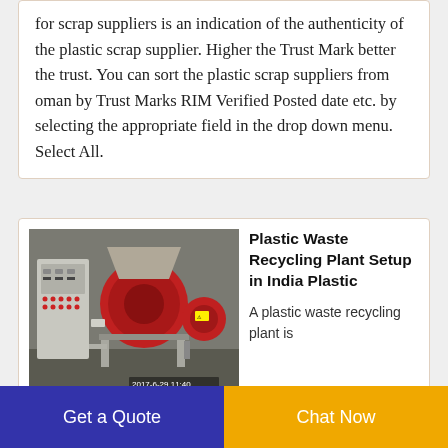for scrap suppliers is an indication of the authenticity of the plastic scrap supplier. Higher the Trust Mark better the trust. You can sort the plastic scrap suppliers from oman by Trust Marks RIM Verified Posted date etc. by selecting the appropriate field in the drop down menu. Select All.
[Figure (photo): Photo of an industrial plastic waste recycling machine with red cylindrical components, a grey control panel on the left, and grey/red mechanical parts, dated 2017-6-29 11:40]
Plastic Waste Recycling Plant Setup in India Plastic
A plastic waste recycling plant is a facility consists of machinery installed in and having a
Get a Quote
Chat Now